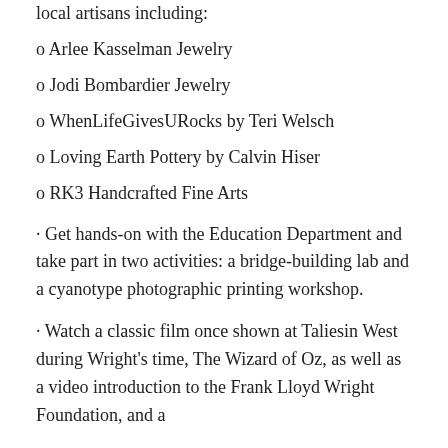local artisans including:
o Arlee Kasselman Jewelry
o Jodi Bombardier Jewelry
o WhenLifeGivesURocks by Teri Welsch
o Loving Earth Pottery by Calvin Hiser
o RK3 Handcrafted Fine Arts
· Get hands-on with the Education Department and take part in two activities: a bridge-building lab and a cyanotype photographic printing workshop.
· Watch a classic film once shown at Taliesin West during Wright's time, The Wizard of Oz, as well as a video introduction to the Frank Lloyd Wright Foundation, and a